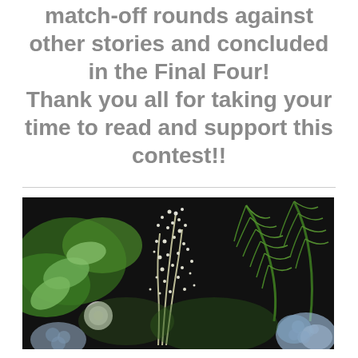match-off rounds against other stories and concluded in the Final Four! Thank you all for taking your time to read and support this contest!!
[Figure (photo): Close-up photograph of a floral arrangement featuring white astilbe or baby's breath flowers, green fern fronds, eucalyptus leaves, and blue hydrangea petals against a dark background.]